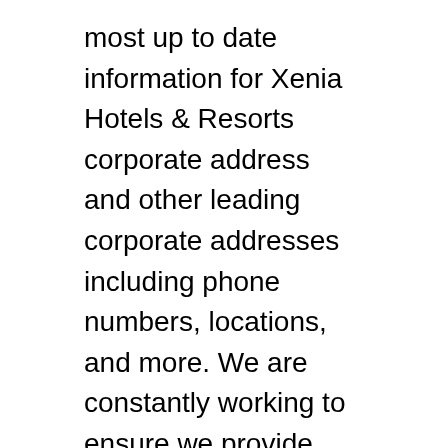most up to date information for Xenia Hotels & Resorts corporate address and other leading corporate addresses including phone numbers, locations, and more. We are constantly working to ensure we provide you the best Xenia Hotels & Resorts details and information.
Users may find new information and updates for Xenia Hotels & Resorts corporate address are invited to share them with us. We would appreciate that if you find any new details or data for Xenia Hotels & Resorts corporate or any other corporates addresses, you send us